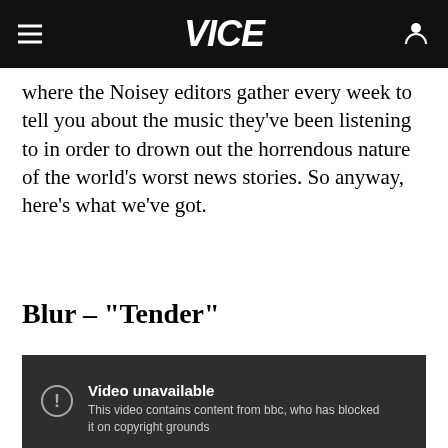VICE
where the Noisey editors gather every week to tell you about the music they've been listening to in order to drown out the horrendous nature of the world's worst news stories. So anyway, here's what we've got.
Blur - "Tender"
[Figure (screenshot): Embedded YouTube video player showing a blocked video with message: 'Video unavailable. This video contains content from bbc, who has blocked it on copyright grounds']